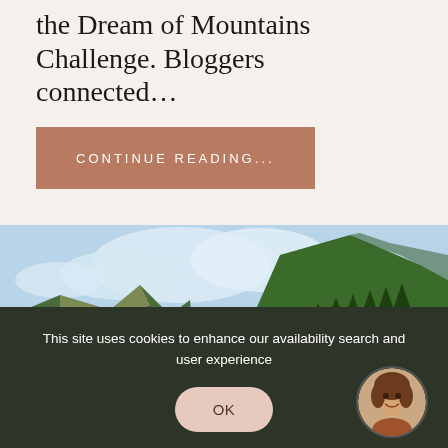the Dream of Mountains Challenge. Bloggers connected…
CONTINUE READING...
[Figure (photo): Mountain valley landscape with green forested slopes on both sides, a road or small structure visible in the valley, and a cloudy sky above.]
This site uses cookies to enhance our availability search and user experience
OK
[Figure (photo): Circular avatar photo of a smiling woman with curly hair.]